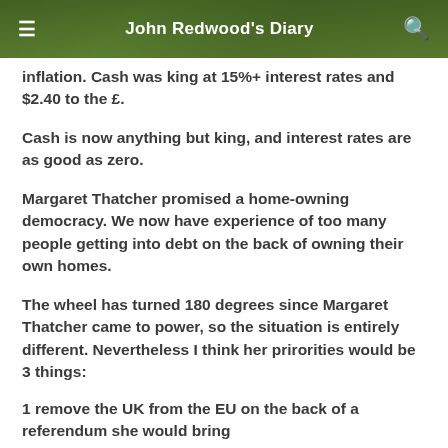John Redwood's Diary
inflation. Cash was king at 15%+ interest rates and $2.40 to the £.
Cash is now anything but king, and interest rates are as good as zero.
Margaret Thatcher promised a home-owning democracy. We now have experience of too many people getting into debt on the back of owning their own homes.
The wheel has turned 180 degrees since Margaret Thatcher came to power, so the situation is entirely different. Nevertheless I think her prirorities would be 3 things:
1 remove the UK from the EU on the back of a referendum she would bring